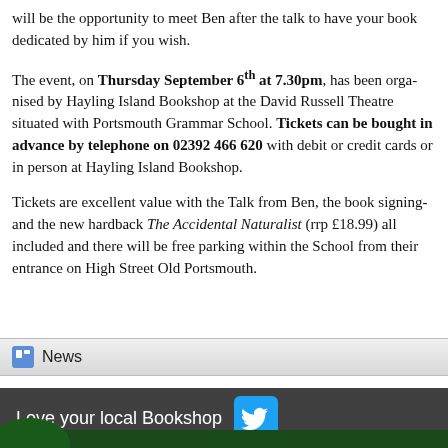will be the opportunity to meet Ben after the talk to have your book dedicated by him if you wish.
The event, on Thursday September 6th at 7.30pm, has been organised by Hayling Island Bookshop at the David Russell Theatre situated within Portsmouth Grammar School. Tickets can be bought in advance by telephone on 02392 466 620 with debit or credit cards or in person at Hayling Island Bookshop.
Tickets are excellent value with the Talk from Ben, the book signing and the new hardback The Accidental Naturalist (rrp £18.99) all included and there will be free parking within the School from their entrance on High Street Old Portsmouth.
News
Love your local Bookshop